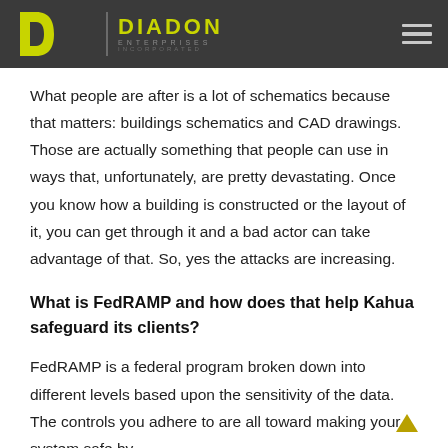[Figure (logo): Diadon Enterprises Incorporated logo with green D shape, vertical divider, and company name in yellow-green on dark gray header bar. Hamburger menu icon on right.]
What people are after is a lot of schematics because that matters: buildings schematics and CAD drawings. Those are actually something that people can use in ways that, unfortunately, are pretty devastating. Once you know how a building is constructed or the layout of it, you can get through it and a bad actor can take advantage of that. So, yes the attacks are increasing.
What is FedRAMP and how does that help Kahua safeguard its clients?
FedRAMP is a federal program broken down into different levels based upon the sensitivity of the data. The controls you adhere to are all toward making your system safe by